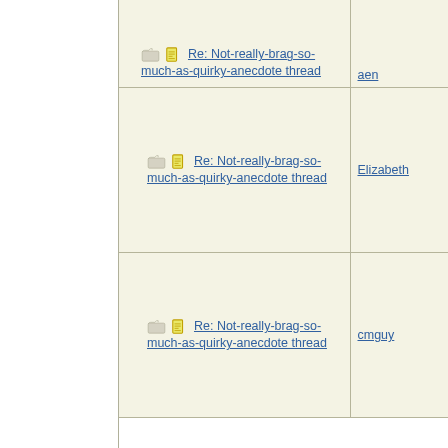| Subject | Author |
| --- | --- |
| Re: Not-really-brag-so-much-as-quirky-anecdote thread (partial top) | aen |
| Re: Not-really-brag-so-much-as-quirky-anecdote thread | Elizabeth |
| Re: Not-really-brag-so-much-as-quirky-anecdote thread | cmguy |
| Re: Not-really-brag-so-much-as-quirky-anecdote thread | Can2K |
| Re: Not-really-brag-so-much-as-quirky-anecdote thread | notnafnaf |
| Re: Not-really-brag-so-much-as-quirky-anecdote thread | Dude |
| Re: Not-really-brag-so-much-as-quirky-anecdote thread | Mana |